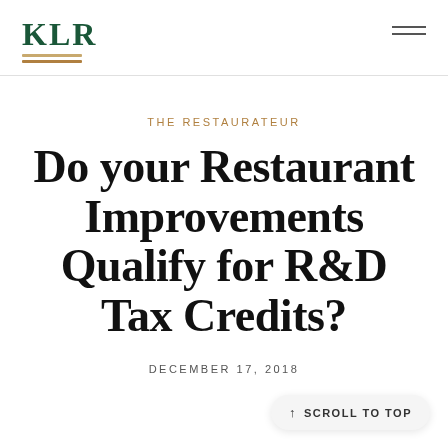KLR
THE RESTAURATEUR
Do your Restaurant Improvements Qualify for R&D Tax Credits?
DECEMBER 17, 2018
↑ SCROLL TO TOP